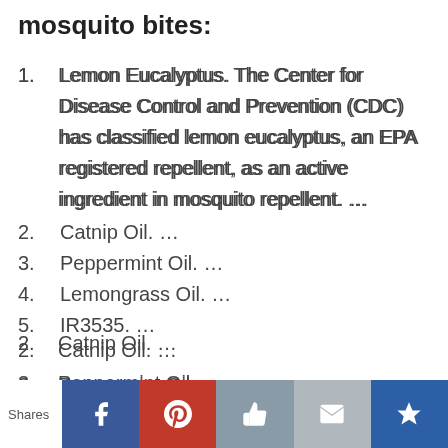mosquito bites:
Lemon Eucalyptus. The Center for Disease Control and Prevention (CDC) has classified lemon eucalyptus, an EPA registered repellent, as an active ingredient in mosquito repellent. …
Catnip Oil. …
Peppermint Oil. …
Lemongrass Oil. …
IR3535. …
Shares [Facebook] [Pinterest] [Like] [Email] [Crown]